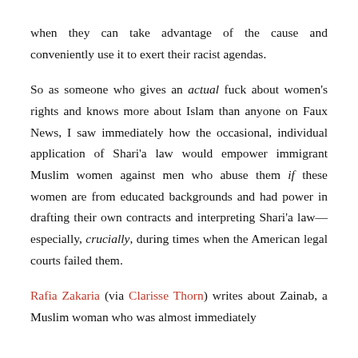when they can take advantage of the cause and conveniently use it to exert their racist agendas.
So as someone who gives an actual fuck about women's rights and knows more about Islam than anyone on Faux News, I saw immediately how the occasional, individual application of Shari'a law would empower immigrant Muslim women against men who abuse them if these women are from educated backgrounds and had power in drafting their own contracts and interpreting Shari'a law—especially, crucially, during times when the American legal courts failed them.
Rafia Zakaria (via Clarisse Thorn) writes about Zainab, a Muslim woman who was almost immediately